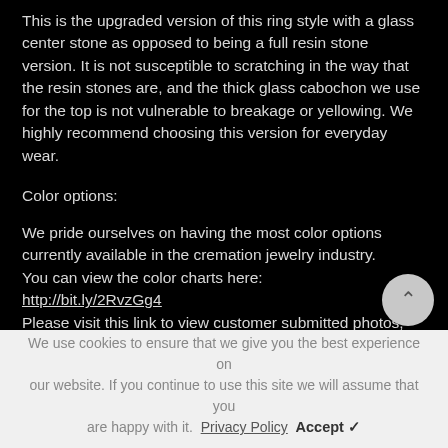This is the upgraded version of this ring style with a glass center stone as opposed to being a full resin stone version. It is not susceptible to scratching in the way that the resin stones are, and the thick glass cabochon we use for the top is not vulnerable to breakage or yellowing. We highly recommend choosing this version for everyday wear.
Color options:
We pride ourselves on having the most color options currently available in the cremation jewelry industry.
You can view the color charts here:
http://bit.ly/2RvzGg4
Please visit this link to view customer submitted photos, and past work:
instagram.com/sugarberry memorials
We use cookies to ensure that we give you the best experience on our website. If you continue to use this site we will assume that you are happy with it. Privacy Policy Accept ✓